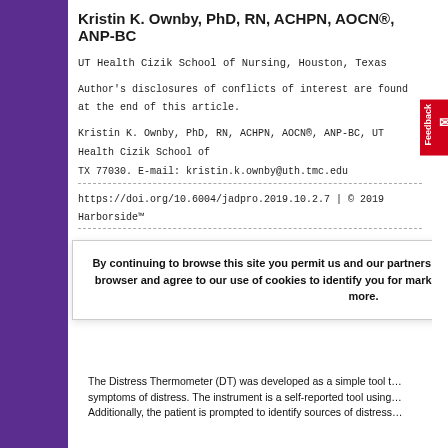Kristin K. Ownby, PhD, RN, ACHPN, AOCN®, ANP-BC
UT Health Cizik School of Nursing, Houston, Texas
Author's disclosures of conflicts of interest are found at the end of this article.
Kristin K. Ownby, PhD, RN, ACHPN, AOCN®, ANP-BC, UT Health Cizik School of Nursing, TX 77030. E-mail: kristin.k.ownby@uth.tmc.edu
https://doi.org/10.6004/jadpro.2019.10.2.7 | © 2019 Harborside™
◄ PREVIOUS PAGE
ABSTRACT
...versely affect...fully underid...ence and is a...s. In 1999, th...ening for dis...
The Distress Thermometer (DT) was developed as a simple tool t... symptoms of distress. The instrument is a self-reported tool using... Additionally, the patient is prompted to identify sources of distress...
By continuing to browse this site you permit us and our partners to place identification cookies on your browser and agree to our use of cookies to identify you for marketing. Read our Privacy Policy to learn more.